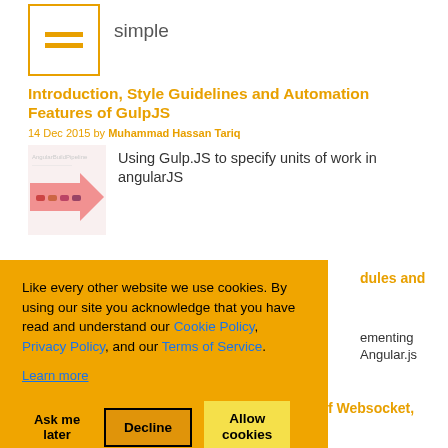[Figure (illustration): Small document/list icon with orange border and two horizontal orange lines inside]
simple
Introduction, Style Guidelines and Automation Features of GulpJS
14 Dec 2015 by Muhammad Hassan Tariq
[Figure (illustration): Thumbnail showing a pink/orange arrow diagram representing Gulp.JS pipeline workflow]
Using Gulp.JS to specify units of work in angularJS
...dules and
...ementing ... Angular.js
...se of Websocket,
29 Nov 2014 by Ahmed Chanfeddine
Like every other website we use cookies. By using our site you acknowledge that you have read and understand our Cookie Policy, Privacy Policy, and our Terms of Service.
Learn more
Ask me later
Decline
Allow cookies